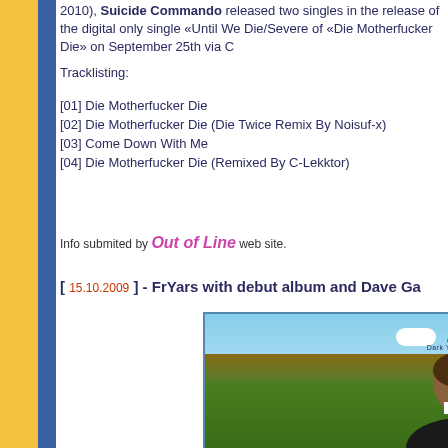2010), Suicide Commando released two singles in the release of the digital only single «Until We Die/Severe of «Die Motherfucker Die» on September 25th via C
Tracklisting:
[01] Die Motherfucker Die
[02] Die Motherfucker Die (Die Twice Remix By Noisuf-x)
[03] Come Down With Me
[04] Die Motherfucker Die (Remixed By C-Lekktor)
Info submitted by Out of Line web site.
[ 15.10.2009 ] - FrYars with debut album and Dave Ga
[Figure (photo): Album cover for FrYars 'Dark Young Hearts' showing a person from behind standing in a field with autumn trees and blue sky, with the frYars logo in the top right corner.]